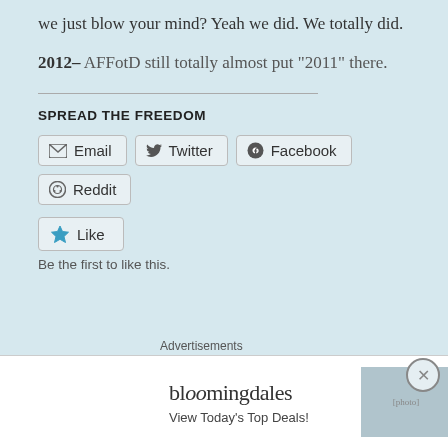we just blow your mind?  Yeah we did.  We totally did.
2012– AFFotD still totally almost put "2011" there.
SPREAD THE FREEDOM
[Figure (infographic): Social share buttons: Email, Twitter, Facebook, Reddit]
[Figure (infographic): Like button with star icon and text 'Be the first to like this.']
Be the first to like this.
Advertisements
[Figure (illustration): Bloomingdale's advertisement banner: 'View Today's Top Deals!' with SHOP NOW > button and woman with hat image]